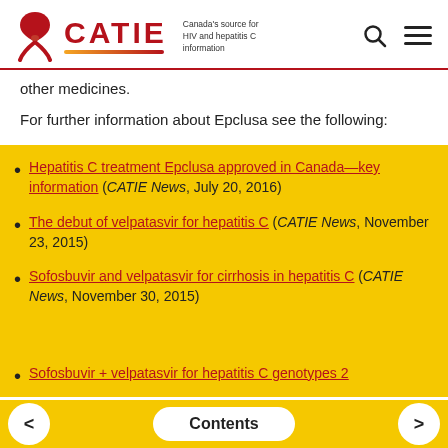CATIE — Canada's source for HIV and hepatitis C information
other medicines.
For further information about Epclusa see the following:
Hepatitis C treatment Epclusa approved in Canada—key information (CATIE News, July 20, 2016)
The debut of velpatasvir for hepatitis C (CATIE News, November 23, 2015)
Sofosbuvir and velpatasvir for cirrhosis in hepatitis C (CATIE News, November 30, 2015)
Sofosbuvir + velpatasvir for hepatitis C genotypes 2